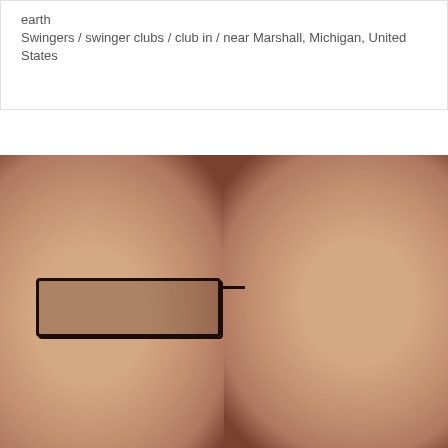earth
Swingers / swinger clubs / club in / near Marshall, Michigan, United States
[Figure (photo): Close-up selfie photo of two people with their heads together. The person on the left is wearing dark-framed rectangular glasses. Both faces are close to the camera with warm/orange toned lighting.]